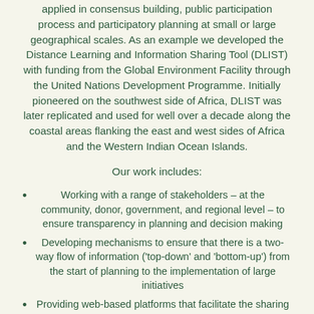applied in consensus building, public participation process and participatory planning at small or large geographical scales. As an example we developed the Distance Learning and Information Sharing Tool (DLIST) with funding from the Global Environment Facility through the United Nations Development Programme. Initially pioneered on the southwest side of Africa, DLIST was later replicated and used for well over a decade along the coastal areas flanking the east and west sides of Africa and the Western Indian Ocean Islands.
Our work includes:
Working with a range of stakeholders – at the community, donor, government, and regional level – to ensure transparency in planning and decision making
Developing mechanisms to ensure that there is a two-way flow of information ('top-down' and 'bottom-up') from the start of planning to the implementation of large initiatives
Providing web-based platforms that facilitate the sharing of knowledge and information across all sectors of society